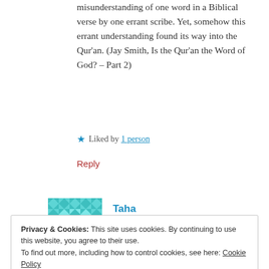misunderstanding of one word in a Biblical verse by one errant scribe. Yet, somehow this errant understanding found its way into the Qur'an. (Jay Smith, Is the Qur'an the Word of God? – Part 2)
★ Liked by 1 person
Reply
[Figure (illustration): Teal/turquoise geometric mosaic avatar icon for commenter Taha]
Taha
November 19, 2019 at 10:32 pm
Privacy & Cookies: This site uses cookies. By continuing to use this website, you agree to their use.
To find out more, including how to control cookies, see here: Cookie Policy
Close and accept
depth, but these are tentative